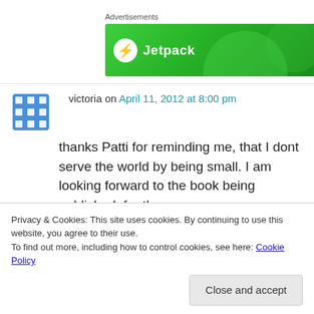Advertisements
[Figure (other): Jetpack advertisement banner — green gradient background with Jetpack logo and text]
victoria on April 11, 2012 at 8:00 pm
thanks Patti for reminding me, that I dont serve the world by being small. I am looking forward to the book being published, for there are woman
Privacy & Cookies: This site uses cookies. By continuing to use this website, you agree to their use.
To find out more, including how to control cookies, see here: Cookie Policy
Close and accept
Liked by 1 person